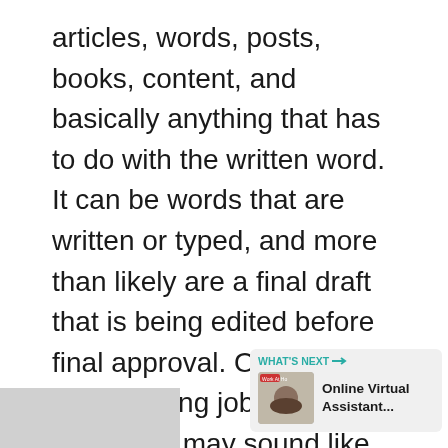articles, words, posts, books, content, and basically anything that has to do with the written word. It can be words that are written or typed, and more than likely are a final draft that is being edited before final approval. Online proofreading jobs for beginners may sound like an unimportant position but these editors act as one of the last set of eyes on the written word before it is published and goes live. Talk about an important position!
[Figure (infographic): Heart/like button icon with 7.8K count and share button]
[Figure (infographic): WHAT'S NEXT panel with thumbnail image and text 'Online Virtual Assistant...']